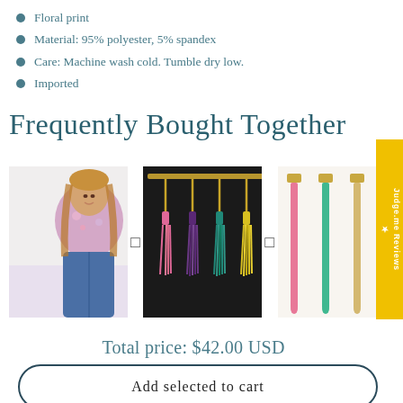Floral print
Material: 95% polyester, 5% spandex
Care: Machine wash cold. Tumble dry low.
Imported
Frequently Bought Together
[Figure (photo): Floral print blouse worn by a woman]
[Figure (photo): Colorful tassel keychains on display rack]
[Figure (photo): Colorful wrist lanyards/straps in pink, teal, beige]
Total price: $42.00 USD
Add selected to cart